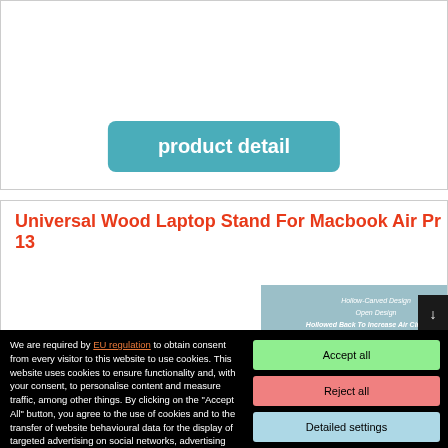[Figure (screenshot): Product detail button - teal/blue rounded rectangle button with white text 'product detail']
Universal Wood Laptop Stand For Macbook Air Pr 13
[Figure (screenshot): Product image showing a laptop stand with blue-grey background and text: Hollow-Carved Design, Open Design, Hollowed Back To Increase Air Circulation, Effectively Reduce Temperature Heat Dissipation For Notebooks]
We are required by EU regulation to obtain consent from every visitor to this website to use cookies. This website uses cookies to ensure functionality and, with your consent, to personalise content and measure traffic, among other things. By clicking on the "Accept All" button, you agree to the use of cookies and to the transfer of website behavioural data for the display of targeted advertising on social networks, advertising networks on other sites.